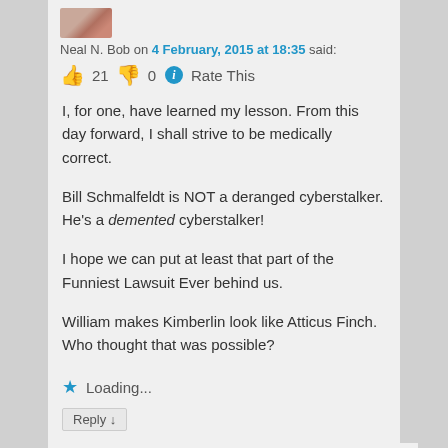[Figure (photo): Small avatar image of Neal N. Bob at top]
Neal N. Bob on 4 February, 2015 at 18:35 said:
👍 21 👎 0 ℹ Rate This
I, for one, have learned my lesson. From this day forward, I shall strive to be medically correct.

Bill Schmalfeldt is NOT a deranged cyberstalker. He's a demented cyberstalker!

I hope we can put at least that part of the Funniest Lawsuit Ever behind us.

William makes Kimberlin look like Atticus Finch. Who thought that was possible?
★ Loading...
Reply ↓
[Figure (photo): Small avatar image of Neal N. Bob at bottom nested comment]
Neal N. Bob on 4 February, 2015 at 18:37 said: